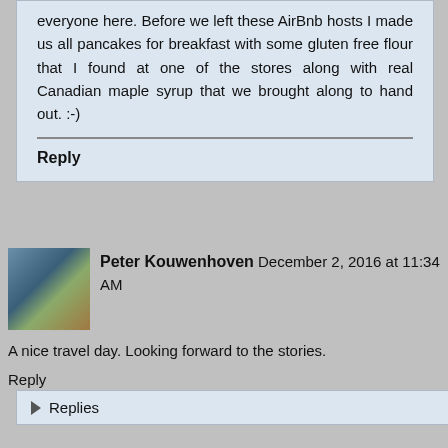everyone here. Before we left these AirBnb hosts I made us all pancakes for breakfast with some gluten free flour that I found at one of the stores along with real Canadian maple syrup that we brought along to hand out. :-)
Reply
Peter Kouwenhoven December 2, 2016 at 11:34 AM
A nice travel day. Looking forward to the stories.
Reply
Replies